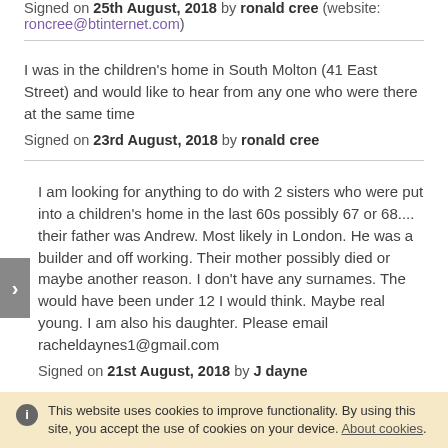Signed on 25th August, 2018 by ronald cree (website: roncree@btinternet.com)
I was in the children's home in South Molton (41 East Street) and would like to hear from any one who were there at the same time
Signed on 23rd August, 2018 by ronald cree
I am looking for anything to do with 2 sisters who were put into a children's home in the last 60s possibly 67 or 68.... their father was Andrew. Most likely in London. He was a builder and off working. Their mother possibly died or maybe another reason. I don't have any surnames. The would have been under 12 I would think. Maybe real young. I am also his daughter. Please email racheldaynes1@gmail.com
Signed on 21st August, 2018 by J dayne
This website uses cookies to improve functionality. By using this site, you accept the use of cookies on your device. About cookies.